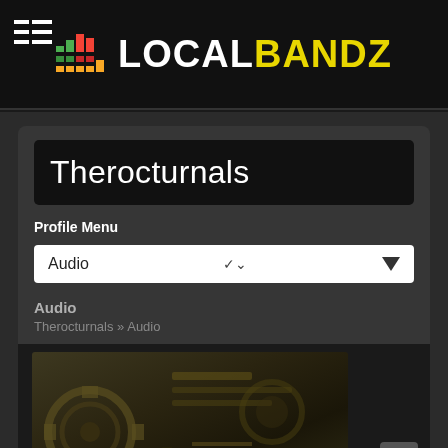LocalBandz
Therocturnals
Profile Menu
Audio
Audio
Therocturnals » Audio
[Figure (screenshot): Album artwork thumbnail showing mechanical/industrial collage in dark sepia tones]